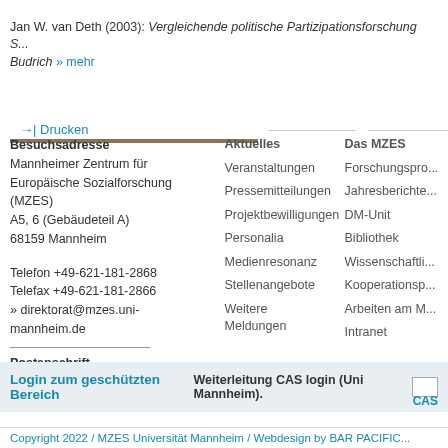Jan W. van Deth (2003): Vergleichende politische Partizipationsforschung S... Budrich » mehr
→| Drucken
Besuchsadresse
Mannheimer Zentrum für
Europäische Sozialforschung (MZES)
A5, 6 (Gebäudeteil A)
68159 Mannheim

Telefon +49-621-181-2868
Telefax +49-621-181-2866
» direktorat@mzes.uni-mannheim.de
Postanschrift
Universität Mannheim, MZES
68131 Mannheim, Germany
Aktuelles
Veranstaltungen
Pressemitteilungen
Projektbewilligungen
Personalia
Medienresonanz
Stellenangebote
Weitere Meldungen
Das MZES
Forschungspro...
Jahresberichte...
DM-Unit
Bibliothek
Wissenschaftli...
Kooperationsp...
Arbeiten am M...
Intranet
Login zum geschützten Bereich  Weiterleitung CAS login (Uni Mannheim).
CAS
Copyright 2022 / MZES Universität Mannheim / Webdesign by BAR PACIFIC